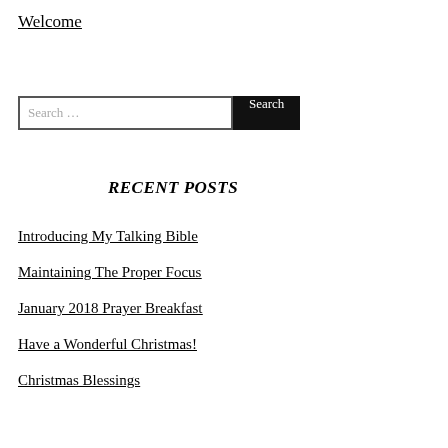Welcome
Search …
RECENT POSTS
Introducing My Talking Bible
Maintaining The Proper Focus
January 2018 Prayer Breakfast
Have a Wonderful Christmas!
Christmas Blessings